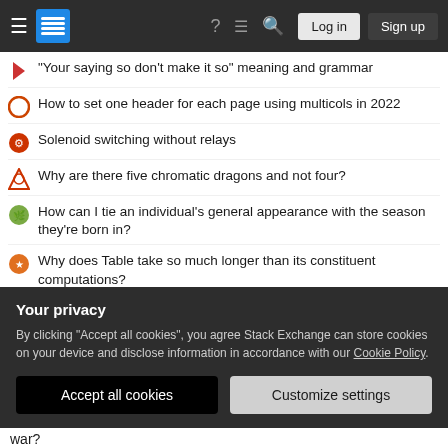Stack Exchange navigation bar with Log in and Sign up buttons
"Your saying so don't make it so" meaning and grammar
How to set one header for each page using multicols in 2022
Solenoid switching without relays
Why are there five chromatic dragons and not four?
How can I tie an individual's general appearance with the season they're born in?
Why does Table take so much longer than its constituent computations?
Another one on the past tense of must have
Why does the "ô" in this "rôle" have a circumflex?
Your privacy
By clicking "Accept all cookies", you agree Stack Exchange can store cookies on your device and disclose information in accordance with our Cookie Policy.
Accept all cookies  Customize settings
war?